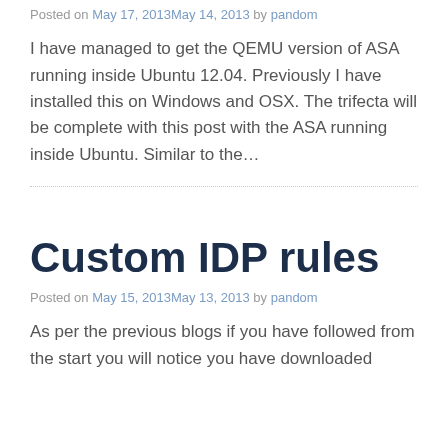Posted on May 17, 2013May 14, 2013 by pandom
I have managed to get the QEMU version of ASA running inside Ubuntu 12.04. Previously I have installed this on Windows and OSX. The trifecta will be complete with this post with the ASA running inside Ubuntu. Similar to the…
Custom IDP rules
Posted on May 15, 2013May 13, 2013 by pandom
As per the previous blogs if you have followed from the start you will notice you have downloaded